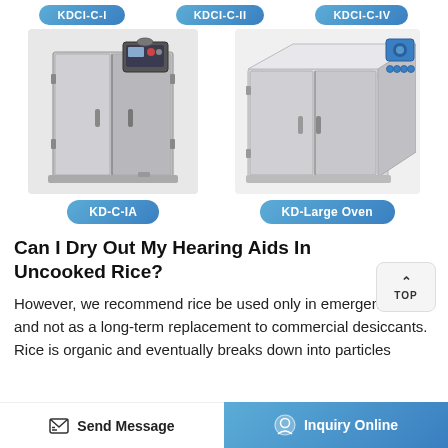[Figure (other): Three blue pill-shaped navigation tabs: KDCI-C-I, KDCI-C-II, KDCI-C-IV]
[Figure (photo): KD-C-IA industrial drying oven with front panel and control unit]
KD-C-IA
[Figure (photo): KD-Large Oven industrial large drying oven with blue motor on top right]
KD-Large Oven
Can I Dry Out My Hearing Aids In Uncooked Rice?
However, we recommend rice be used only in emergencies and not as a long-term replacement to commercial desiccants. Rice is organic and eventually breaks down into particles
Send Message | Inquiry Online